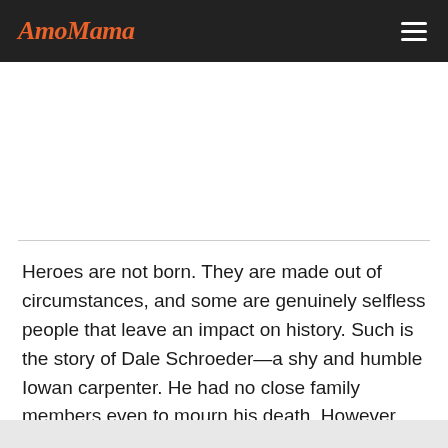AmoMama
Heroes are not born. They are made out of circumstances, and some are genuinely selfless people that leave an impact on history. Such is the story of Dale Schroeder—a shy and humble Iowan carpenter. He had no close family members even to mourn his death. However, his one thoughtful deed brought 33 different strangers to honor his obituary in 2019, 14 years after